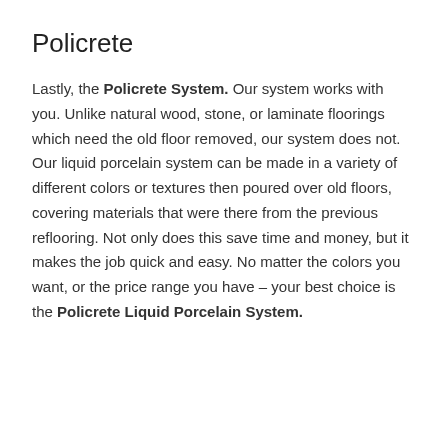Policrete
Lastly, the Policrete System. Our system works with you. Unlike natural wood, stone, or laminate floorings which need the old floor removed, our system does not. Our liquid porcelain system can be made in a variety of different colors or textures then poured over old floors, covering materials that were there from the previous reflooring. Not only does this save time and money, but it makes the job quick and easy. No matter the colors you want, or the price range you have – your best choice is the Policrete Liquid Porcelain System.